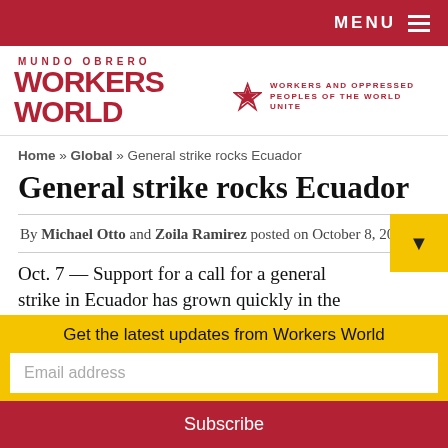MENU
[Figure (logo): Workers World / Mundo Obrero logo with red star and tagline: Workers and Oppressed Peoples of the World Unite]
Home » Global » General strike rocks Ecuador
General strike rocks Ecuador
By Michael Otto and Zoila Ramirez posted on October 8, 2019
Oct. 7 — Support for a call for a general strike in Ecuador has grown quickly in the
Get the latest updates from Workers World
Email address
Subscribe